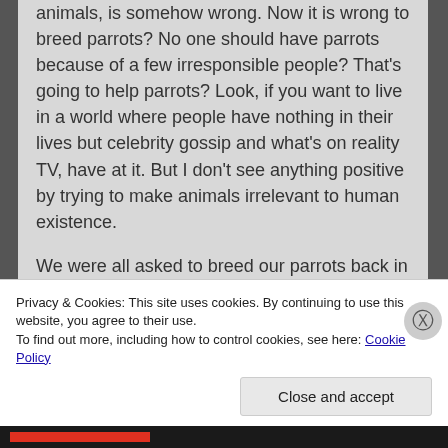animals, is somehow wrong. Now it is wrong to breed parrots? No one should have parrots because of a few irresponsible people? That's going to help parrots? Look, if you want to live in a world where people have nothing in their lives but celebrity gossip and what's on reality TV, have at it. But I don't see anything positive by trying to make animals irrelevant to human existence.
We were all asked to breed our parrots back in the day because they would no longer be imported. Now, as some people in the AFA warned at the time, the other shoe has dropped. Apparently there really are pet grabbers out there who don't think anyone should have a parrot. They enjoyed THEIR birds but
Privacy & Cookies: This site uses cookies. By continuing to use this website, you agree to their use.
To find out more, including how to control cookies, see here: Cookie Policy